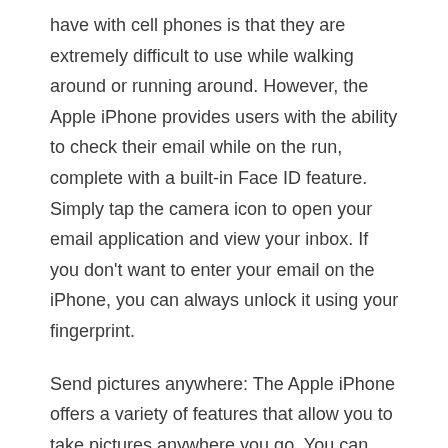have with cell phones is that they are extremely difficult to use while walking around or running around. However, the Apple iPhone provides users with the ability to check their email while on the run, complete with a built-in Face ID feature. Simply tap the camera icon to open your email application and view your inbox. If you don't want to enter your email on the iPhone, you can always unlock it using your fingerprint.
Send pictures anywhere: The Apple iPhone offers a variety of features that allow you to take pictures anywhere you go. You can take pictures of a restaurant, a sunset, yourself, your friends, or others. You can send pictures with friends and family all over the world by downloading the apple iphone 13 pro max iSage iPhone Application. This application allows you to create virtual thumbnails and share them via email, Facebook, or any other social networking sites. You can also add text to your photos such as a message, a quote, or any other special message you would like to add.